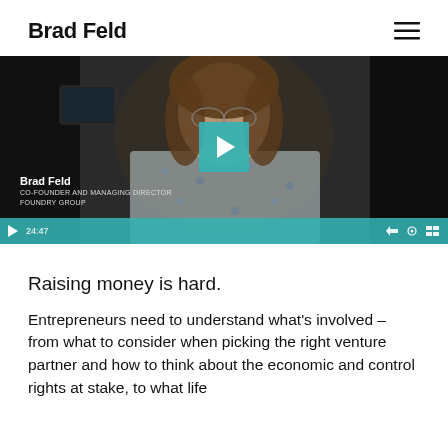Brad Feld
[Figure (screenshot): Video thumbnail showing Brad Feld, Co-Founder and Managing Director, Foundry Group, seated in front of a dark background. A teal play button is overlaid in the center. The video duration shows 24:47 in a teal control bar at the bottom.]
Raising money is hard.
Entrepreneurs need to understand what’s involved – from what to consider when picking the right venture partner and how to think about the economic and control rights at stake, to what life